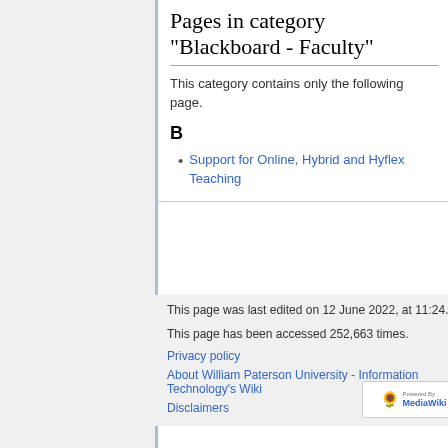Pages in category "Blackboard - Faculty"
This category contains only the following page.
B
Support for Online, Hybrid and Hyflex Teaching
This page was last edited on 12 June 2022, at 11:24.
This page has been accessed 252,663 times.
Privacy policy
About William Paterson University - Information Technology's Wiki
Disclaimers